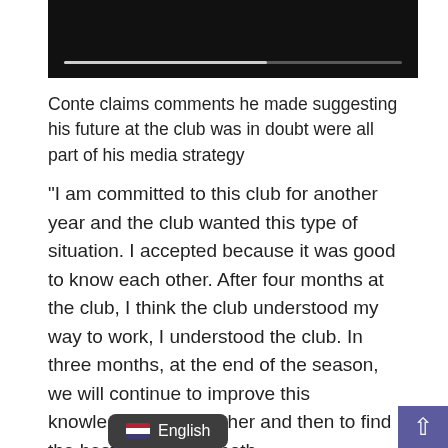[Figure (screenshot): Video player thumbnail with dark background and a progress bar near the bottom]
Conte claims comments he made suggesting his future at the club was in doubt were all part of his media strategy
“I am committed to this club for another year and the club wanted this type of situation. I accepted because it was good to know each other. After four months at the club, I think the club understood my way to work, I understood the club. In three months, at the end of the season, we will continue to improve this knowledge of each other and then to find the best solution for both.
“I am enjoying working for this club. I like to fight for something important for this club.”
Tot…hree points adrift of rivals Arsenal in